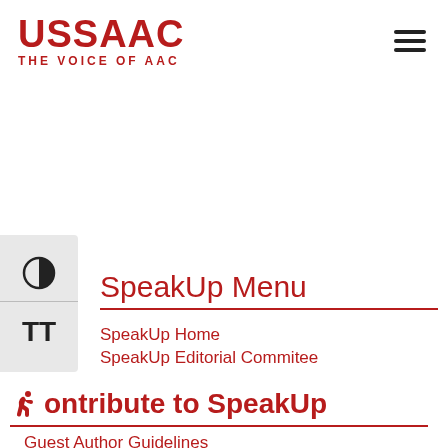USSAAC THE VOICE OF AAC
SpeakUp Menu
SpeakUp Home
SpeakUp Editorial Commitee
Contribute to SpeakUp
Guest Author Guidelines